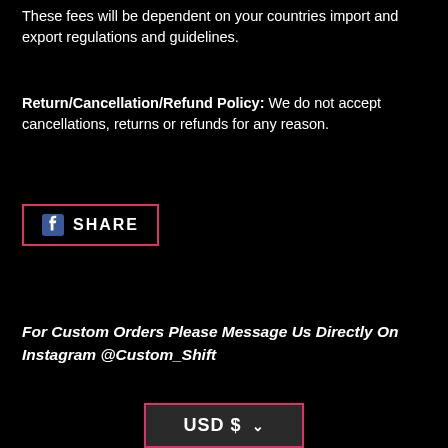These fees will be dependent on your countries import and export regulations and guidelines.
Return/Cancellation/Refund Policy: We do not accept cancellations, returns or refunds for any reason.
[Figure (other): Facebook Share button with pink/magenta border, Facebook icon and SHARE label in white text]
For Custom Orders Please Message Us Directly On Instagram @Custom_Shift
[Figure (other): Currency selector button showing USD $ with a chevron dropdown, dark background with pink/magenta border]